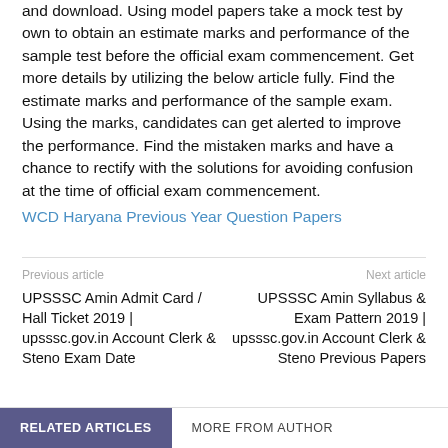and download. Using model papers take a mock test by own to obtain an estimate marks and performance of the sample test before the official exam commencement. Get more details by utilizing the below article fully. Find the estimate marks and performance of the sample exam. Using the marks, candidates can get alerted to improve the performance. Find the mistaken marks and have a chance to rectify with the solutions for avoiding confusion at the time of official exam commencement.
WCD Haryana Previous Year Question Papers
Previous article
Next article
UPSSSC Amin Admit Card / Hall Ticket 2019 | upsssc.gov.in Account Clerk & Steno Exam Date
UPSSSC Amin Syllabus & Exam Pattern 2019 | upsssc.gov.in Account Clerk & Steno Previous Papers
RELATED ARTICLES
MORE FROM AUTHOR